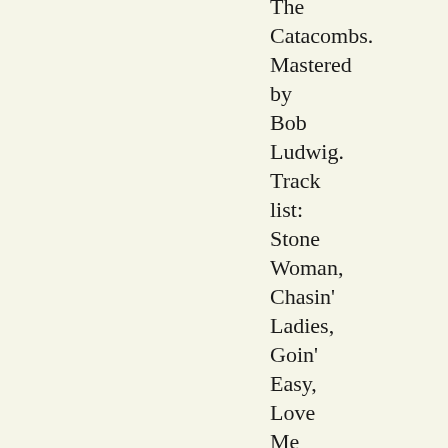The Catacombs. Mastered by Bob Ludwig. Track list: Stone Woman, Chasin' Ladies, Goin' Easy, Love Me Hard, From A Dry Camel, Often Shadows Felt, Loose